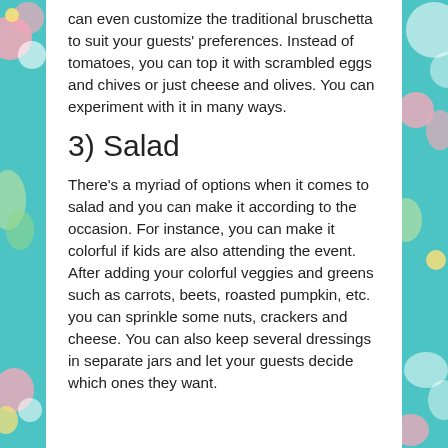can even customize the traditional bruschetta to suit your guests' preferences. Instead of tomatoes, you can top it with scrambled eggs and chives or just cheese and olives. You can experiment with it in many ways.
3) Salad
There's a myriad of options when it comes to salad and you can make it according to the occasion. For instance, you can make it colorful if kids are also attending the event. After adding your colorful veggies and greens such as carrots, beets, roasted pumpkin, etc. you can sprinkle some nuts, crackers and cheese. You can also keep several dressings in separate jars and let your guests decide which ones they want.